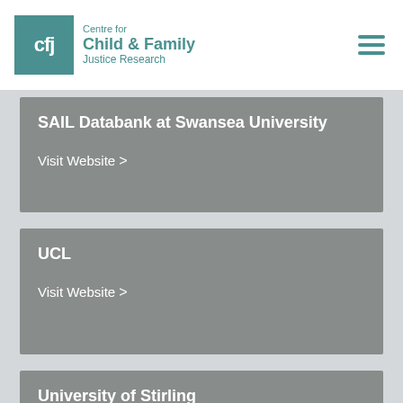Centre for Child & Family Justice Research
SAIL Databank at Swansea University
Visit Website >
UCL
Visit Website >
University of Stirling
Visit Website >